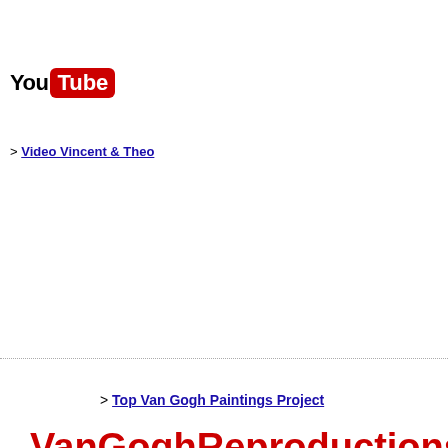[Figure (logo): YouTube logo with 'You' in black text and 'Tube' in white text on red rounded rectangle background]
> Video Vincent & Theo
> Top Van Gogh Paintings Project
VanGoghReproductions.com